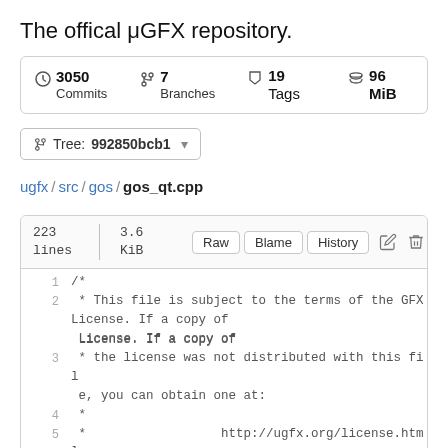The offical μGFX repository.
3050 Commits  7 Branches  19 Tags  96 MiB
Tree: 992850bcb1
ugfx / src / gos / gos_qt.cpp
223 lines  3.6 KiB  Raw  Blame  History
1  /*
2   * This file is subject to the terms of the GFX License. If a copy of
3   * the license was not distributed with this file, you can obtain one at:
4   *
5   *                  http://ugfx.org/license.html
6   */
7